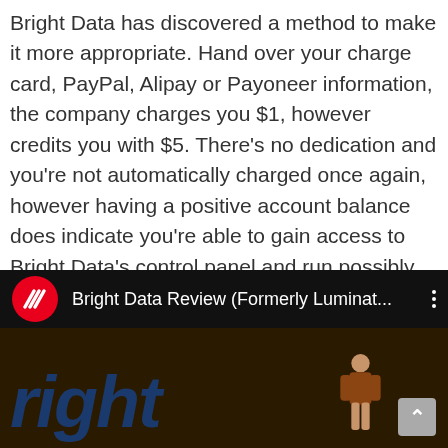Bright Data has discovered a method to make it more appropriate. Hand over your charge card, PayPal, Alipay or Payoneer information, the company charges you $1, however credits you with $5. There's no dedication and you're not automatically charged once again, however having a positive account balance does indicate you're able to gain access to Bright Data's control panel and run possibly 5-6GB of datacenter proxy texts.
[Figure (screenshot): Screenshot of a YouTube video player showing 'Bright Data Review (Formerly Luminat...' with a red circular logo with diagonal stripes, a dark video thumbnail showing partial text 'right' in large blue letters, and a scroll-to-top button in the bottom right corner.]